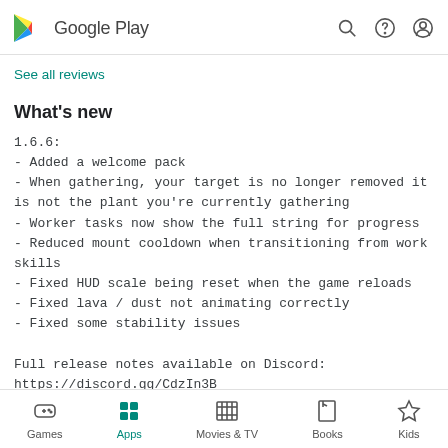Google Play
See all reviews
What's new
1.6.6:
- Added a welcome pack
- When gathering, your target is no longer removed it is not the plant you're currently gathering
- Worker tasks now show the full string for progress
- Reduced mount cooldown when transitioning from work skills
- Fixed HUD scale being reset when the game reloads
- Fixed lava / dust not animating correctly
- Fixed some stability issues

Full release notes available on Discord:
https://discord.gg/CdzIn3B
Games  Apps  Movies & TV  Books  Kids